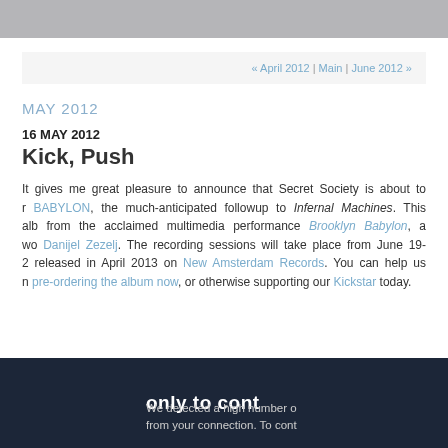« April 2012 | Main | June 2012 »
MAY 2012
16 MAY 2012
Kick, Push
It gives me great pleasure to announce that Secret Society is about to record BABYLON, the much-anticipated followup to Infernal Machines. This alb... from the acclaimed multimedia performance Brooklyn Babylon, a wo... Danijel Zezelj. The recording sessions will take place from June 19-2... released in April 2013 on New Amsterdam Records. You can help us n... pre-ordering the album now, or otherwise supporting our Kickstart... today.
[Figure (screenshot): Dark navy banner with white bold text partially visible reading 'only to cont...' and below 'We detected a high number o... from your connection. To cont']